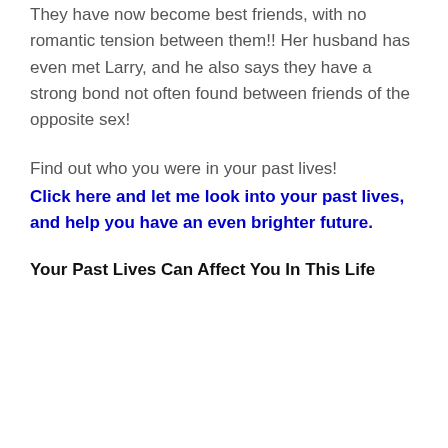They have now become best friends, with no romantic tension between them!! Her husband has even met Larry, and he also says they have a strong bond not often found between friends of the opposite sex!
Find out who you were in your past lives!
Click here and let me look into your past lives, and help you have an even brighter future.
Your Past Lives Can Affect You In This Life